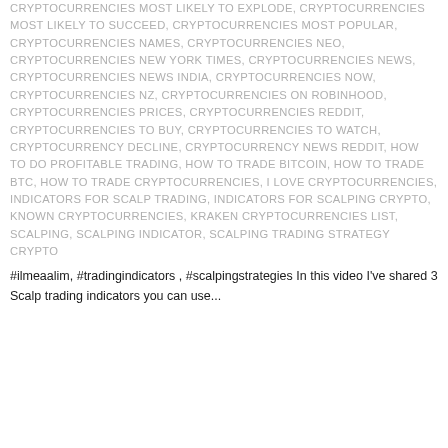CRYPTOCURRENCIES MOST LIKELY TO EXPLODE, CRYPTOCURRENCIES MOST LIKELY TO SUCCEED, CRYPTOCURRENCIES MOST POPULAR, CRYPTOCURRENCIES NAMES, CRYPTOCURRENCIES NEO, CRYPTOCURRENCIES NEW YORK TIMES, CRYPTOCURRENCIES NEWS, CRYPTOCURRENCIES NEWS INDIA, CRYPTOCURRENCIES NOW, CRYPTOCURRENCIES NZ, CRYPTOCURRENCIES ON ROBINHOOD, CRYPTOCURRENCIES PRICES, CRYPTOCURRENCIES REDDIT, CRYPTOCURRENCIES TO BUY, CRYPTOCURRENCIES TO WATCH, CRYPTOCURRENCY DECLINE, CRYPTOCURRENCY NEWS REDDIT, HOW TO DO PROFITABLE TRADING, HOW TO TRADE BITCOIN, HOW TO TRADE BTC, HOW TO TRADE CRYPTOCURRENCIES, I LOVE CRYPTOCURRENCIES, INDICATORS FOR SCALP TRADING, INDICATORS FOR SCALPING CRYPTO, KNOWN CRYPTOCURRENCIES, KRAKEN CRYPTOCURRENCIES LIST, SCALPING, SCALPING INDICATOR, SCALPING TRADING STRATEGY CRYPTO
#ilmeaalim, #tradingindicators , #scalpingstrategies In this video I've shared 3 Scalp trading indicators you can use...